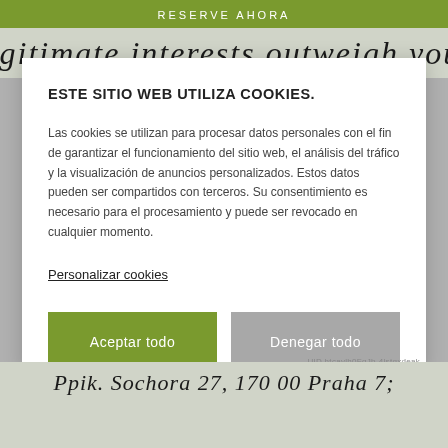RESERVE AHORA
legitimate interests outweigh your
ESTE SITIO WEB UTILIZA COOKIES.
Las cookies se utilizan para procesar datos personales con el fin de garantizar el funcionamiento del sitio web, el análisis del tráfico y la visualización de anuncios personalizados. Estos datos pueden ser compartidos con terceros. Su consentimiento es necesario para el procesamiento y puede ser revocado en cualquier momento.
Personalizar cookies
Aceptar todo
Denegar todo
UID htcavlh0FgJb-4lstqxdeak
Ppik. Sochora 27, 170 00 Praha 7;